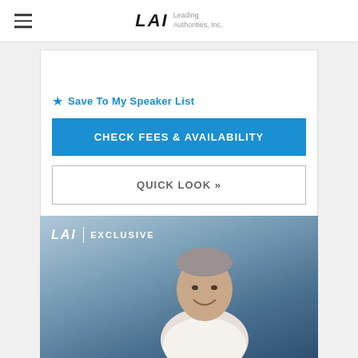LAI Leading Authorities, Inc.
Save To My Speaker List
CHECK FEES & AVAILABILITY
QUICK LOOK »
[Figure (photo): LAI Exclusive banner with photo of a man smiling, short gray hair, wearing a white shirt, blurred office background]